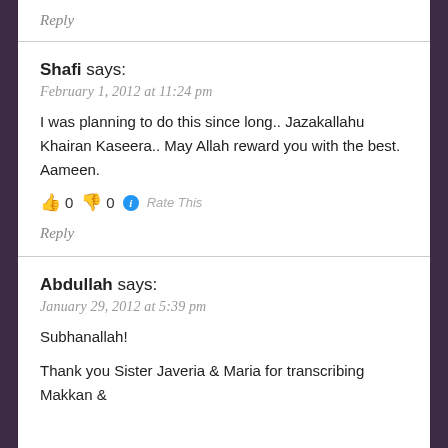Reply
Shafi says:
February 1, 2012 at 11:24 pm
I was planning to do this since long.. Jazakallahu Khairan Kaseera.. May Allah reward you with the best. Aameen.
👍 0 👎 0 ℹ Rate This
Reply
Abdullah says:
January 29, 2012 at 5:39 pm
Subhanallah!
Thank you Sister Javeria & Maria for transcribing Makkan &